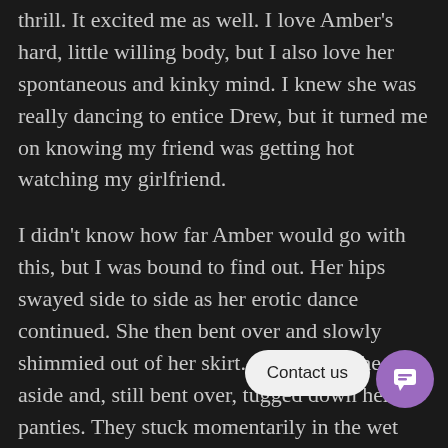thrill. It excited me as well. I love Amber's hard, little willing body, but I also love her spontaneous and kinky mind. I knew she was really dancing to entice Drew, but it turned me on knowing my friend was getting hot watching my girlfriend.
I didn't know how far Amber would go with this, but I was bound to find out. Her hips swayed side to side as her erotic dance continued. She then bent over and slowly shimmied out of her skirt. She kicked the skirt aside and, still bent over, tugged down her panties. They stuck momentarily in the wet crevice of her cunt, then slid down around her ankles. I heard Drew gasp as Amber's firm ass waved in the air at us, her swollen pussy-lips visible between her slender thighs.
Amber gave us a long look at her delectable ass, then turned and gave us a full view of her nubile body. She